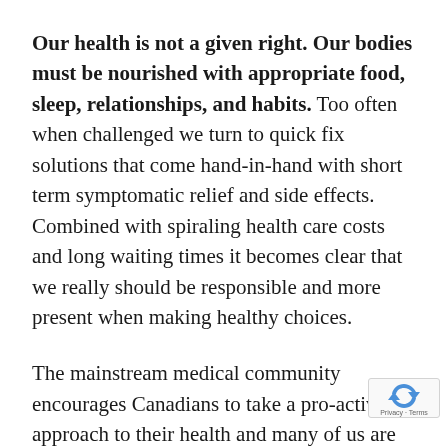Our health is not a given right. Our bodies must be nourished with appropriate food, sleep, relationships, and habits. Too often when challenged we turn to quick fix solutions that come hand-in-hand with short term symptomatic relief and side effects. Combined with spiraling health care costs and long waiting times it becomes clear that we really should be responsible and more present when making healthy choices.
The mainstream medical community encourages Canadians to take a pro-active approach to their health and many of us are